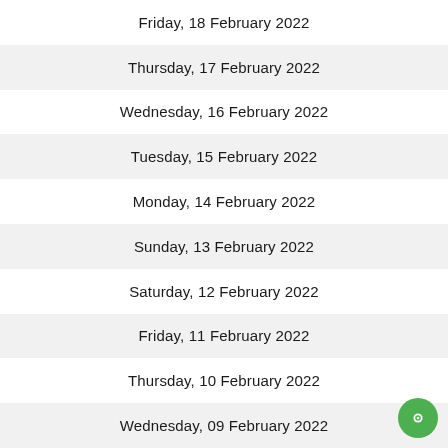Friday, 18 February 2022
Thursday, 17 February 2022
Wednesday, 16 February 2022
Tuesday, 15 February 2022
Monday, 14 February 2022
Sunday, 13 February 2022
Saturday, 12 February 2022
Friday, 11 February 2022
Thursday, 10 February 2022
Wednesday, 09 February 2022